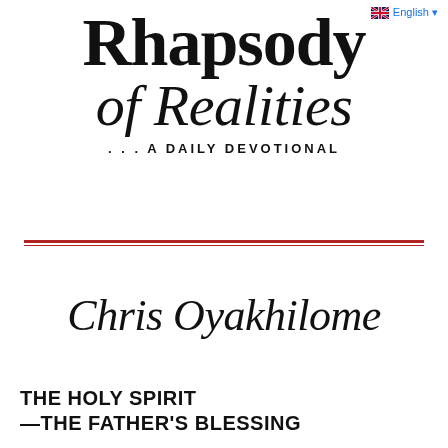English ▾
Rhapsody of Realities
... A DAILY DEVOTIONAL
Chris Oyakhilome
THE HOLY SPIRIT —THE FATHER'S BLESSING